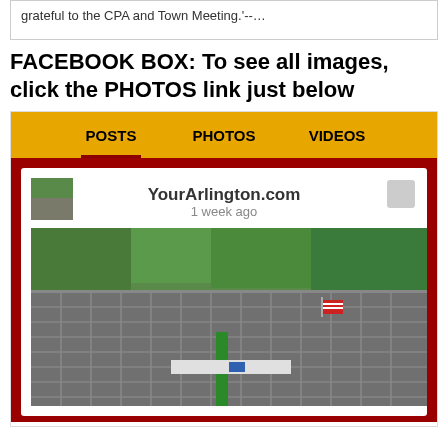grateful to the CPA and Town Meeting.'--…
FACEBOOK BOX: To see all images, click the PHOTOS link just below
[Figure (screenshot): Facebook box widget showing YourArlington.com page post with tabs: POSTS, PHOTOS, VIDEOS. Below is a construction site aerial photo showing steel roof framing of a building under construction, with trees in background and an American flag visible.]